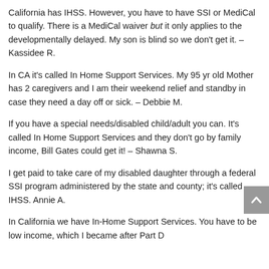California has IHSS. However, you have to have SSI or MediCal to qualify. There is a MediCal waiver but it only applies to the developmentally delayed. My son is blind so we don't get it. – Kassidee R.
In CA it's called In Home Support Services. My 95 yr old Mother has 2 caregivers and I am their weekend relief and standby in case they need a day off or sick. – Debbie M.
If you have a special needs/disabled child/adult you can. It's called In Home Support Services and they don't go by family income, Bill Gates could get it! – Shawna S.
I get paid to take care of my disabled daughter through a federal SSI program administered by the state and county; it's called IHSS. Annie A.
In California we have In-Home Support Services. You have to be low income, which I became after Part D...